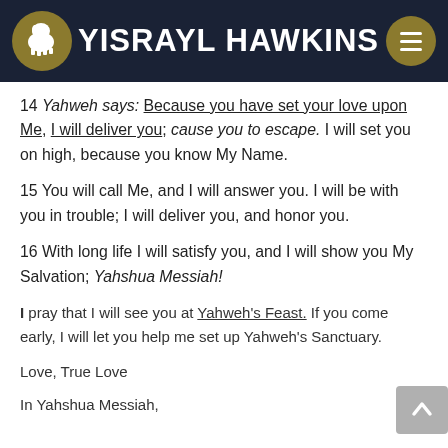YISRAYL HAWKINS
14 Yahweh says: Because you have set your love upon Me, I will deliver you; cause you to escape. I will set you on high, because you know My Name.
15 You will call Me, and I will answer you. I will be with you in trouble; I will deliver you, and honor you.
16 With long life I will satisfy you, and I will show you My Salvation; Yahshua Messiah!
I pray that I will see you at Yahweh's Feast. If you come early, I will let you help me set up Yahweh's Sanctuary.
Love, True Love
In Yahshua Messiah,